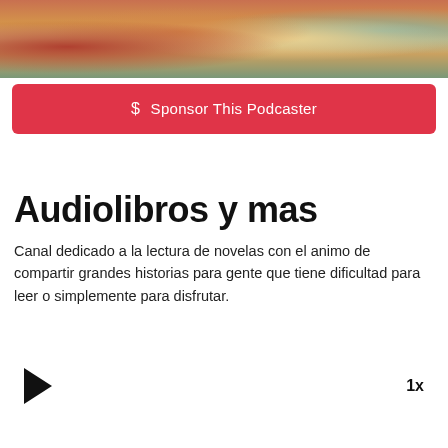[Figure (photo): Close-up photo of stacked books with colorful spines and covers]
$ Sponsor This Podcaster
Audiolibros y mas
Canal dedicado a la lectura de novelas con el animo de compartir grandes historias para gente que tiene dificultad para leer o simplemente para disfrutar.
1x